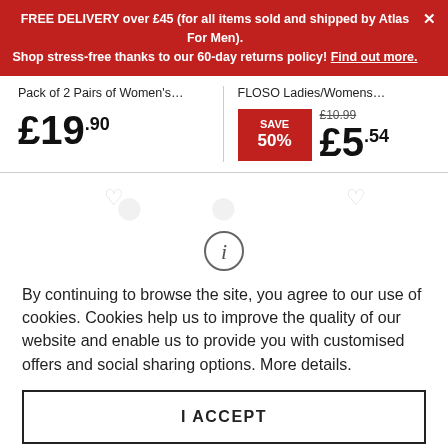FREE DELIVERY over £45 (for all items sold and shipped by Atlas For Men). Shop stress-free thanks to our 60-day returns policy! Find out more.
Pack of 2 Pairs of Women's…
£19.90
FLOSO Ladies/Womens…
SAVE 50% £10.99 £5.54
By continuing to browse the site, you agree to our use of cookies. Cookies help us to improve the quality of our website and enable us to provide you with customised offers and social sharing options. More details.
I ACCEPT